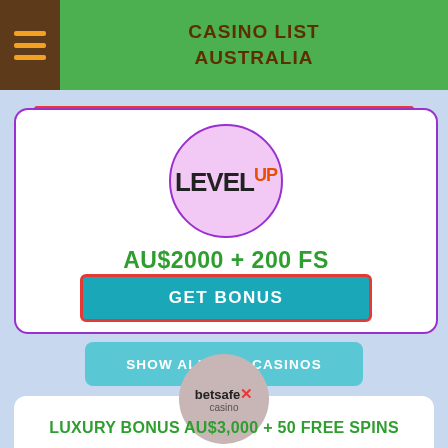CASINO LIST AUSTRALIA
[Figure (logo): LevelUp Casino logo in pink/purple circle]
AU$2000 + 200 FS
GET BONUS
SHOW ALL NEW CASINOS
[Figure (logo): Betsafe Casino logo in grey circle]
LUXURY BONUS AU$3,000 + 50 FREE SPINS